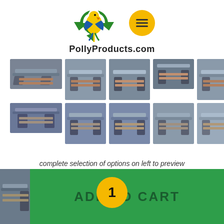[Figure (logo): PollyProducts.com logo with parrot and recycling arrows icon, plus yellow hamburger menu button]
[Figure (photo): Grid of 10 product thumbnail images showing picnic tables in various color combinations]
complete selection of options on left to preview engraving
[Figure (other): Quantity selector showing minus button, quantity 1 in yellow circle, plus button]
[Figure (other): ADD TO CART green button]